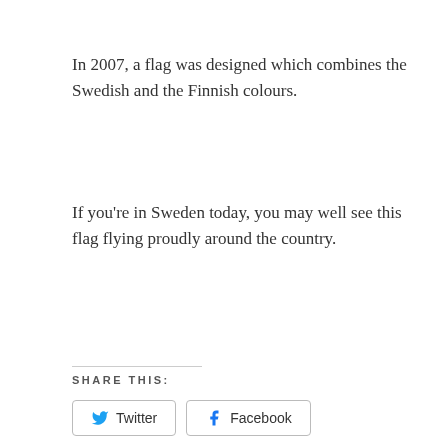In 2007, a flag was designed which combines the Swedish and the Finnish colours.
If you’re in Sweden today, you may well see this flag flying proudly around the country.
SHARE THIS:
[Figure (other): Twitter and Facebook share buttons]
[Figure (other): Like button with 7 blogger avatars, text: 7 bloggers like this.]
RELATED
Onneksi Olkoon – Congratulations to all Swedish Finns
February 24, 2014